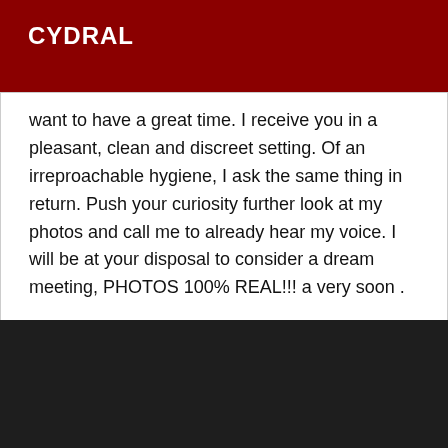CYDRAL
want to have a great time. I receive you in a pleasant, clean and discreet setting. Of an irreproachable hygiene, I ask the same thing in return. Push your curiosity further look at my photos and call me to already hear my voice. I will be at your disposal to consider a dream meeting, PHOTOS 100% REAL!!! a very soon .
[Figure (photo): Dark/black rectangular image area below the text block]